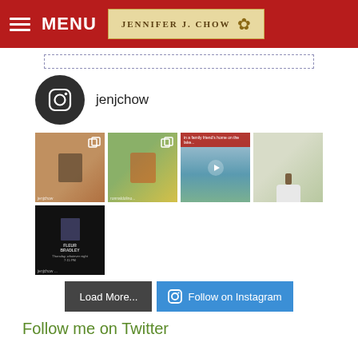MENU | JENNIFER J. CHOW
[Figure (screenshot): Instagram feed for jenjchow showing profile icon and username, grid of 5 Instagram post thumbnails, Load More and Follow on Instagram buttons]
Follow me on Twitter